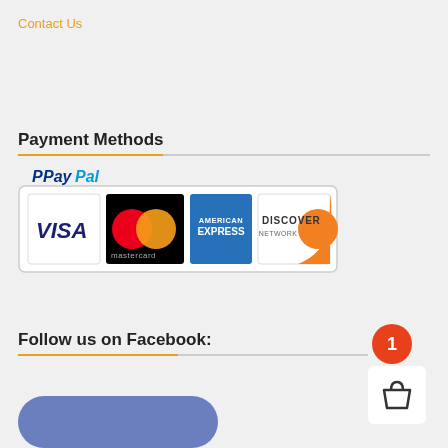Contact Us
Payment Methods
[Figure (illustration): PayPal payment badge showing VISA, Mastercard, American Express, and Discover Network card logos inside a rounded rectangle border with PayPal branding at top]
Follow us on Facebook:
[Figure (illustration): Rounded blue Facebook button partially visible at bottom]
[Figure (other): Cart icon with red badge showing number 1]